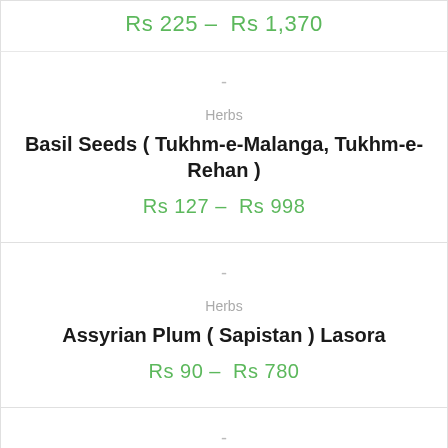Rs 225 – Rs 1,370
-
Herbs
Basil Seeds ( Tukhm-e-Malanga, Tukhm-e-Rehan )
Rs 127 – Rs 998
-
Herbs
Assyrian Plum ( Sapistan ) Lasora
Rs 90 – Rs 780
-
Herbs